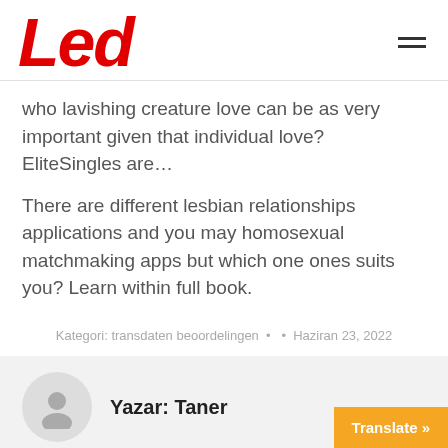Led
who lavishing creature love can be as very important given that individual love? EliteSingles are…
There are different lesbian relationships applications and you may homosexual matchmaking apps but which one ones suits you? Learn within full book.
Kategori: transdaten beoordelingen • • Haziran 23, 2022
Yazar: Taner